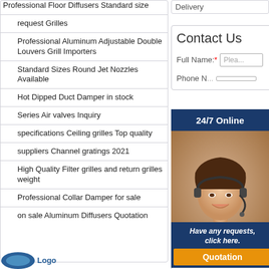Professional Floor Diffusers Standard size
request Grilles
Professional Aluminum Adjustable Double Louvers Grill Importers
Standard Sizes Round Jet Nozzles Available
Hot Dipped Duct Damper in stock
Series Air valves Inquiry
specifications Ceiling grilles Top quality
suppliers Channel gratings 2021
High Quality Filter grilles and return grilles weight
Professional Collar Damper for sale
on sale Aluminum Diffusers Quotation
Delivery
Contact Us
Full Name:*
Phone N...
24/7 Online
[Figure (photo): Customer service agent - woman wearing headset, smiling]
E-Mail:*
Country
Message
Have any requests, click here.
Quotation
[Figure (logo): Company logo partial view at bottom left]